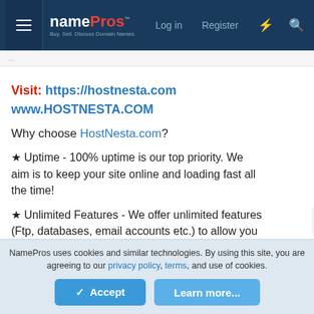namePros - Log in - Register
Visit: https://hostnesta.com www.HOSTNESTA.COM
Why choose HostNesta.com?
★ Uptime - 100% uptime is our top priority. We aim is to keep your site online and loading fast all the time!
★ Unlimited Features - We offer unlimited features (Ftp, databases, email accounts etc.) to allow you to make full use of your account space and bandwidth limits.
NamePros uses cookies and similar technologies. By using this site, you are agreeing to our privacy policy, terms, and use of cookies.